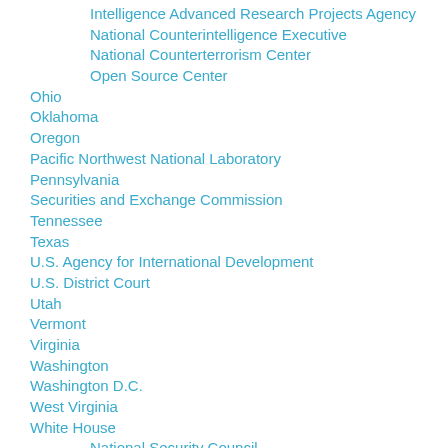Intelligence Advanced Research Projects Agency
National Counterintelligence Executive
National Counterterrorism Center
Open Source Center
Ohio
Oklahoma
Oregon
Pacific Northwest National Laboratory
Pennsylvania
Securities and Exchange Commission
Tennessee
Texas
U.S. Agency for International Development
U.S. District Court
Utah
Vermont
Virginia
Washington
Washington D.C.
West Virginia
White House
National Security Council